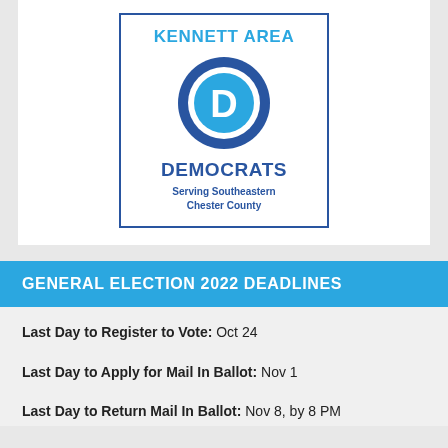[Figure (logo): Kennett Area Democrats logo with blue circle containing a D, text KENNETT AREA at top, DEMOCRATS below, Serving Southeastern Chester County at bottom, inside a bordered box]
GENERAL ELECTION 2022 DEADLINES
Last Day to Register to Vote: Oct 24
Last Day to Apply for Mail In Ballot: Nov 1
Last Day to Return Mail In Ballot: Nov 8, by 8 PM